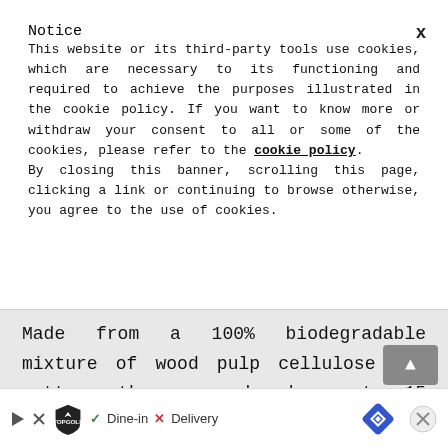Notice
This website or its third-party tools use cookies, which are necessary to its functioning and required to achieve the purposes illustrated in the cookie policy. If you want to know more or withdraw your consent to all or some of the cookies, please refer to the cookie policy. By closing this banner, scrolling this page, clicking a link or continuing to browse otherwise, you agree to the use of cookies.
Made from a 100% biodegradable mixture of wood pulp cellulose and cotton, they can absorb up to 15 times the
the ✓ Dine-in ✗ Delivery